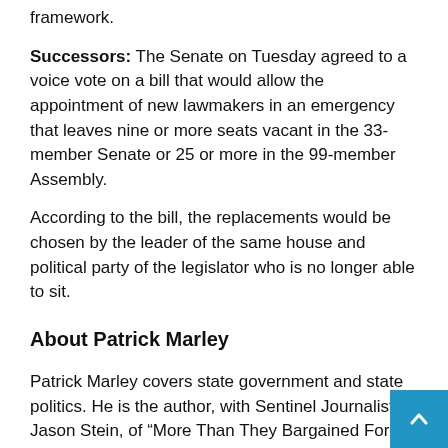framework.
Successors: The Senate on Tuesday agreed to a voice vote on a bill that would allow the appointment of new lawmakers in an emergency that leaves nine or more seats vacant in the 33-member Senate or 25 or more in the 99-member Assembly.
According to the bill, the replacements would be chosen by the leader of the same house and political party of the legislator who is no longer able to sit.
About Patrick Marley
Patrick Marley covers state government and state politics. He is the author, with Sentinel Journalist Jason Stein, of “More Than They Bargained For: Scott Walker, Unions and the Fight for Wisconsin”.
[Figure (photo): Thumbnail of Jason Stein]
About Jason Stein
Jason Stein covers the State Capitol and is the author with his